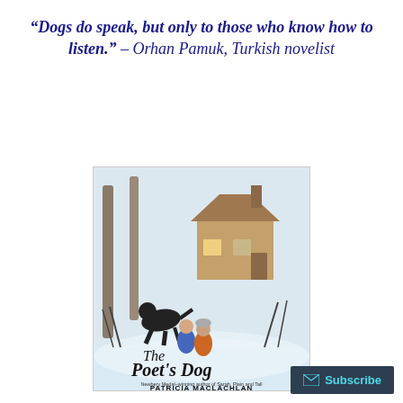“Dogs do speak, but only to those who know how to listen.” – Orhan Pamuk, Turkish novelist
[Figure (illustration): Book cover of 'The Poet's Dog' by Patricia MacLachlan. Illustrated cover showing a snowy winter scene with two children and a large black dog walking toward a wooden cabin in the woods. The title 'The Poet's Dog' is written in decorative handwritten script. Below the title it reads 'Newbery Medal-winning author of Sarah, Plain and Tall' and the author name 'PATRICIA MACLACHLAN' in bold uppercase letters.]
Subscribe